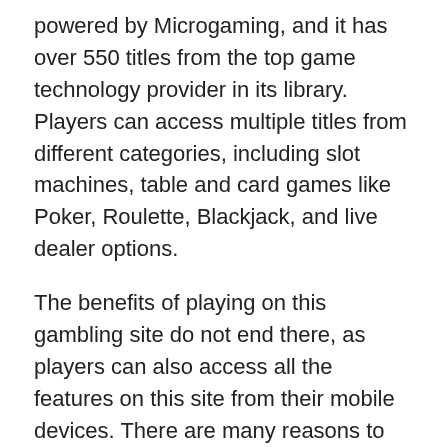powered by Microgaming, and it has over 550 titles from the top game technology provider in its library. Players can access multiple titles from different categories, including slot machines, table and card games like Poker, Roulette, Blackjack, and live dealer options.
The benefits of playing on this gambling site do not end there, as players can also access all the features on this site from their mobile devices. There are many reasons to play casino games on this gambling site, and you will learn more in this Luxury Casino review.
Luxury Casino $1 site offers both new and existing NZ players impressive bonuses like free spins and in-game cash rewards to enjoy the gameplay on the site. The deposit limit on this site is 10 NZD, and players have access to multiple safe and secure payment methods in